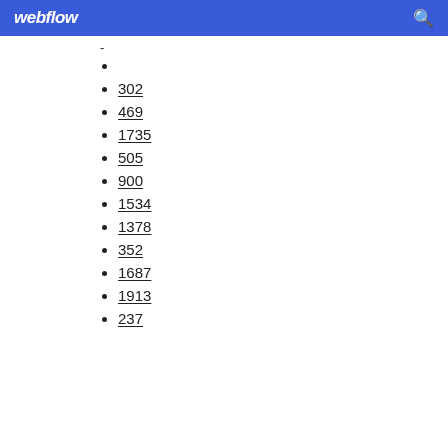webflow
-
302
469
1735
505
900
1534
1378
352
1687
1913
237